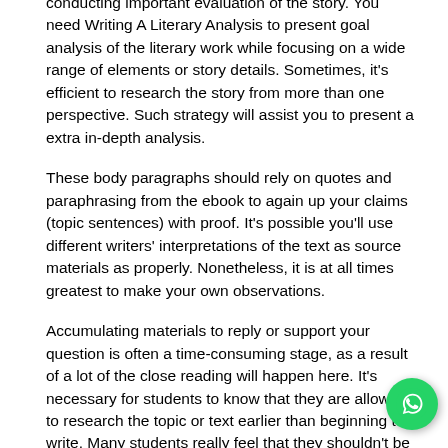conducting important evaluation of the story. You need Writing A Literary Analysis to present goal analysis of the literary work while focusing on a wide range of elements or story details. Sometimes, it's efficient to research the story from more than one perspective. Such strategy will assist you to present a extra in-depth analysis.
These body paragraphs should rely on quotes and paraphrasing from the ebook to again up your claims (topic sentences) with proof. It's possible you'll use different writers' interpretations of the text as source materials as properly. Nonetheless, it is at all times greatest to make your own observations.
Accumulating materials to reply or support your question is often a time-consuming stage, as a result of a lot of the close reading will happen here. It's necessary for students to know that they are allowed to research the topic or text earlier than beginning to write. Many students really feel that they shouldn't be using Google or Wikipedia to analysis their texts. Here is the place the trainer can have an trustworthy dialogue about digital citizenship, and how to inform credible educational sources from non-credible ones.
It's essential to incorporate the title web page in your research